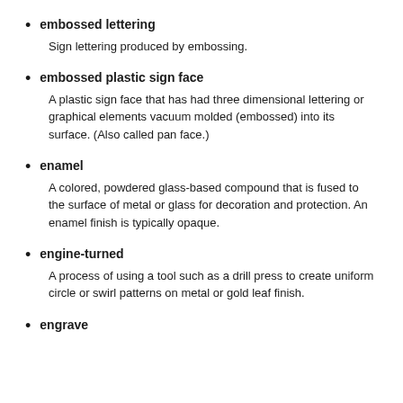embossed lettering
Sign lettering produced by embossing.
embossed plastic sign face
A plastic sign face that has had three dimensional lettering or graphical elements vacuum molded (embossed) into its surface. (Also called pan face.)
enamel
A colored, powdered glass-based compound that is fused to the surface of metal or glass for decoration and protection. An enamel finish is typically opaque.
engine-turned
A process of using a tool such as a drill press to create uniform circle or swirl patterns on metal or gold leaf finish.
engrave